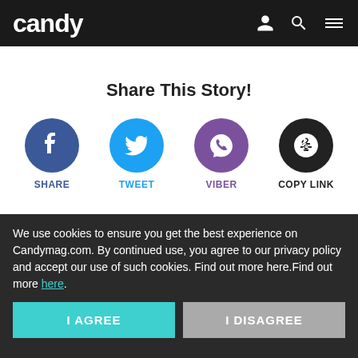candy
Share This Story!
[Figure (infographic): Four social sharing buttons: Facebook (SHARE), Twitter (TWEET), Viber (VIBER), Copy Link (COPY LINK)]
more about
Read on App
hallyu
pinoy series
abs-cbn
the world of the married
We use cookies to ensure you get the best experience on Candymag.com. By continued use, you agree to our privacy policy and accept our use of such cookies. Find out more here.Find out more here.